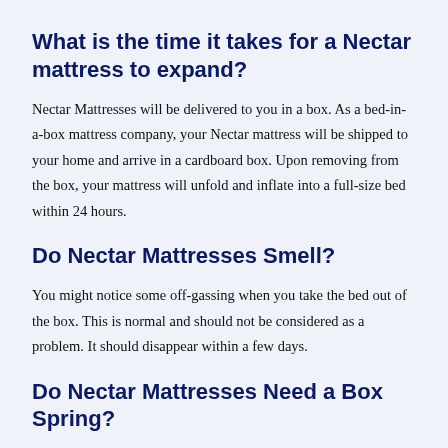What is the time it takes for a Nectar mattress to expand?
Nectar Mattresses will be delivered to you in a box. As a bed-in-a-box mattress company, your Nectar mattress will be shipped to your home and arrive in a cardboard box. Upon removing from the box, your mattress will unfold and inflate into a full-size bed within 24 hours.
Do Nectar Mattresses Smell?
You might notice some off-gassing when you take the bed out of the box. This is normal and should not be considered as a problem. It should disappear within a few days.
Do Nectar Mattresses Need a Box Spring?